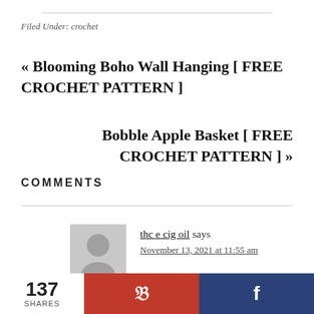Filed Under: crochet
« Blooming Boho Wall Hanging [ FREE CROCHET PATTERN ]
Bobble Apple Basket [ FREE CROCHET PATTERN ] »
COMMENTS
thc e cig oil says
November 13, 2021 at 11:55 am
Hello everybody ! can anyone suggest where I can purchase Nuleaf Naturals CBD Softgels Full Spectrum Hemp 300mg 1800mg?
137 SHARES